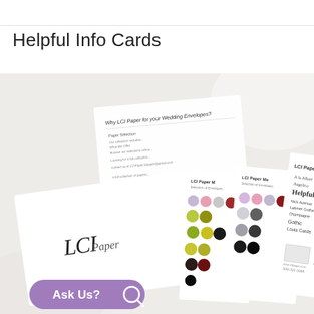Helpful Info Cards
[Figure (photo): A flat-lay photograph showing several LCI Paper informational cards spread out on a white surface alongside an LCI Paper branded box. The cards include a color swatch card with colored dots showing paper colors (greens, yellows, blacks, reds), a fonts and envelope formats card labeled 'LCI Paper Fonts & Envelope Formats', and a card about why LCI Paper for wedding envelopes. There is also a purple 'Ask Us?' button with a search icon in the bottom left corner of the image.]